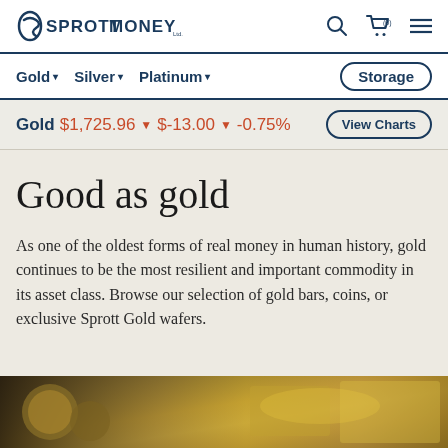Sprott Money — Gold, Silver, Platinum — Storage — Search — Cart (0) — Menu
Gold ▼  Silver ▼  Platinum ▼  Storage
Gold $1,725.96 ▼ $-13.00 ▼ -0.75%   View Charts
Good as gold
As one of the oldest forms of real money in human history, gold continues to be the most resilient and important commodity in its asset class. Browse our selection of gold bars, coins, or exclusive Sprott Gold wafers.
[Figure (photo): Close-up photograph of gold coins and gold bars with warm golden tones]